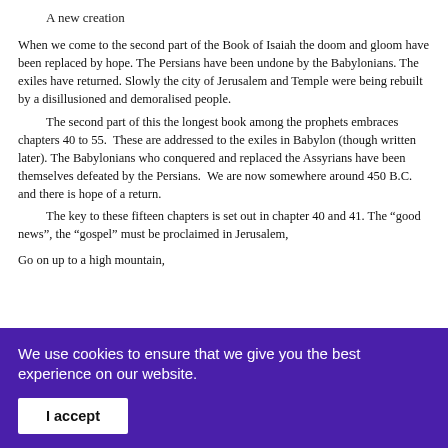A new creation
When we come to the second part of the Book of Isaiah the doom and gloom have been replaced by hope. The Persians have been undone by the Babylonians. The exiles have returned. Slowly the city of Jerusalem and Temple were being rebuilt by a disillusioned and demoralised people.
The second part of this the longest book among the prophets embraces chapters 40 to 55.  These are addressed to the exiles in Babylon (though written later). The Babylonians who conquered and replaced the Assyrians have been themselves defeated by the Persians.  We are now somewhere around 450 B.C. and there is hope of a return.
The key to these fifteen chapters is set out in chapter 40 and 41. The “good news”, the “gospel” must be proclaimed in Jerusalem,
Go on up to a high mountain,
We use cookies to ensure that we give you the best experience on our website.
I accept